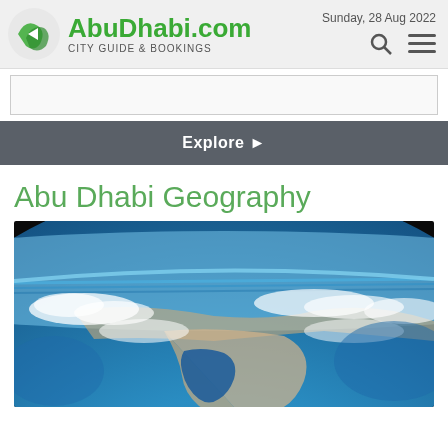AbuDhabi.com CITY GUIDE & BOOKINGS — Sunday, 28 Aug 2022
[Figure (other): Ad banner placeholder rectangle]
Explore ▶
Abu Dhabi Geography
[Figure (photo): Aerial/satellite view of Earth from space showing the Arabian Peninsula and Persian Gulf region with blue ocean, land masses, and cloud cover.]